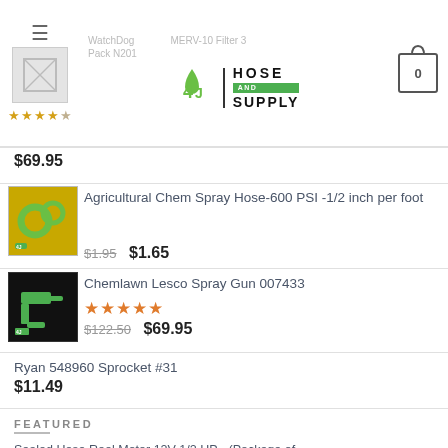[Figure (screenshot): 4J Hose and Supply website header with logo, faded product thumbnail, star rating, hamburger menu icon, and cart icon showing 0]
$69.95
[Figure (photo): Yellow hose rolls product thumbnail with 4J badge]
Agricultural Chem Spray Hose-600 PSI -1/2 inch per foot
$1.95  $1.65
[Figure (photo): Green Chemlawn spray gun on black background with 4J badge]
Chemlawn Lesco Spray Gun 007433
★★★★★
$122.50  $69.95
Ryan 548960 Sprocket #31
$11.49
FEATURED
Sealed Hose Reel Motor 12V 1/2 HP - (Package of